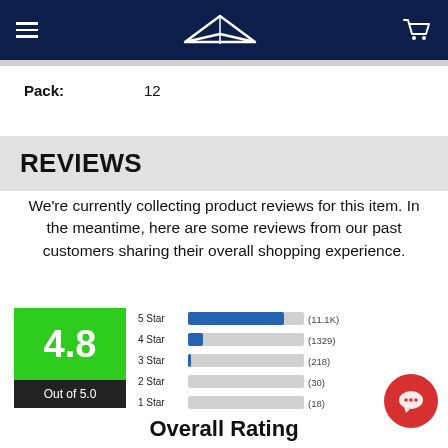Navigation bar with hamburger menu, logo, and cart icon
Pack:  12
REVIEWS
We're currently collecting product reviews for this item. In the meantime, here are some reviews from our past customers sharing their overall shopping experience.
[Figure (bar-chart): Star rating distribution]
Overall Rating